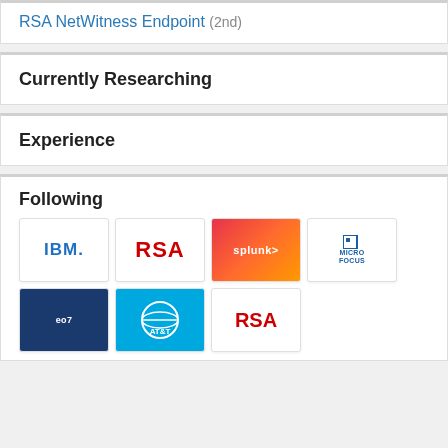RSA NetWitness Endpoint (2nd)
Currently Researching
Experience
Following
[Figure (logo): IBM logo]
[Figure (logo): RSA logo]
[Figure (logo): Splunk logo]
[Figure (logo): Micro Focus logo]
[Figure (logo): Exabeam logo]
[Figure (logo): AT&T logo]
[Figure (logo): RSA logo (bottom)]